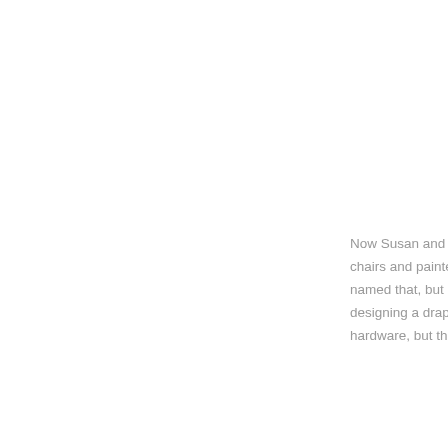Now Susan and Br chairs and painted named that, but it's designing a draper hardware, but that'